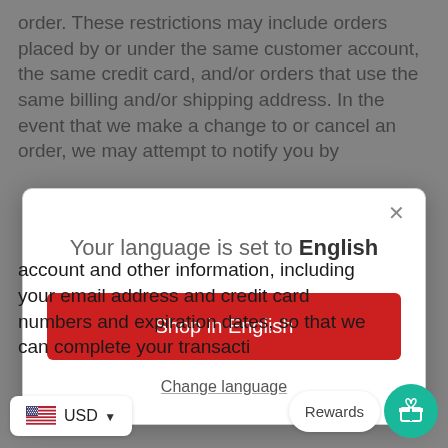order. These restrictions may include orders placed by or under the same customer account, the same credit card, and/or orders that use the same billing and/or shipping address. In the event that we make a change to or cancel an order, we may attempt to notify you by
[Figure (screenshot): A modal dialog popup with white background and rounded corners. Contains the text 'Your language is set to English', a red 'Shop in English' button, and a 'Change language' link. An X close button is at the top right. The background shows body text dimmed by a gray overlay.]
account and other information, including your email address and credit card numbers and expiration dates, so that we can complete your transacti
USD
Rewards